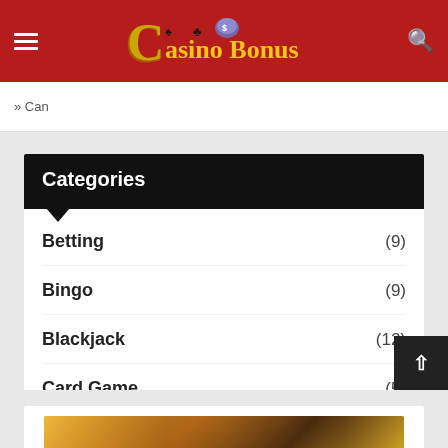Casino Bonus
» Can
Categories
Betting (9)
Bingo (9)
Blackjack (12)
Card Game (5)
Gambling (70)
Online Casino (28)
Poker (12)
[Figure (photo): Partial casino-themed image at bottom of page]